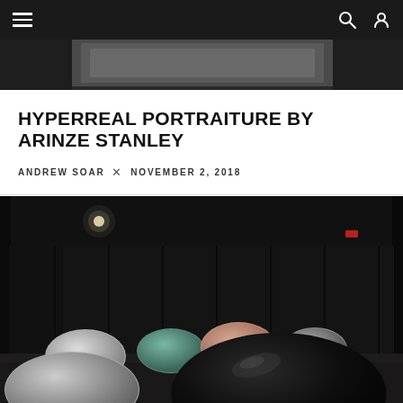Navigation bar with menu, search, and user icons
[Figure (photo): Top portion of a dark image visible behind the navigation bar, showing a blurred dark background]
HYPERREAL PORTRAITURE BY ARINZE STANLEY
ANDREW SOAR × NOVEMBER 2, 2018
[Figure (photo): Dark warehouse interior with large dome-shaped sculptures on the floor, various colors including black, teal, peach, and white, with industrial lighting overhead]